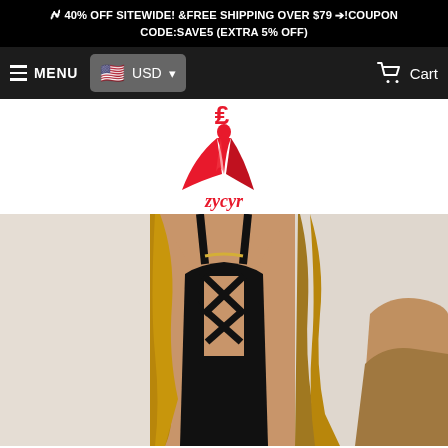40% OFF SITEWIDE! &FREE SHIPPING OVER $79 →!COUPON CODE:SAVE5 (EXTRA 5% OFF)
[Figure (screenshot): Navigation bar with hamburger menu, MENU text, USD currency selector with US flag, and Cart icon on dark background]
[Figure (logo): Zycyr fashion brand logo: red figure in flowing dress with stylized currency symbol, text 'zycyr' in red script below]
[Figure (photo): Woman wearing black criss-cross strappy one-piece swimsuit, tanned skin, blonde hair, gold choker necklace, white background]